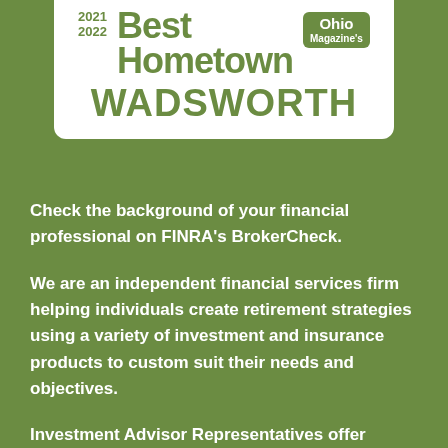[Figure (logo): Ohio Magazine's Best Hometown 2021/2022 award badge for Wadsworth, rendered in green and white with house silhouette motif]
Check the background of your financial professional on FINRA's BrokerCheck.
We are an independent financial services firm helping individuals create retirement strategies using a variety of investment and insurance products to custom suit their needs and objectives.
Investment Advisor Representatives offer